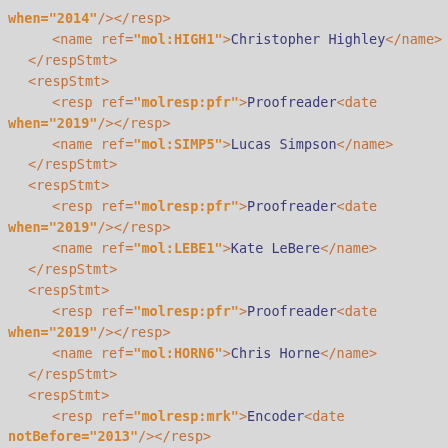when="2014"/></resp>
    <name ref="mol:HIGH1">Christopher Highley</name>
  </respStmt>
  <respStmt>
    <resp ref="molresp:pfr">Proofreader<date when="2019"/></resp>
    <name ref="mol:SIMP5">Lucas Simpson</name>
  </respStmt>
  <respStmt>
    <resp ref="molresp:pfr">Proofreader<date when="2019"/></resp>
    <name ref="mol:LEBE1">Kate LeBere</name>
  </respStmt>
  <respStmt>
    <resp ref="molresp:pfr">Proofreader<date when="2019"/></resp>
    <name ref="mol:HORN6">Chris Horne</name>
  </respStmt>
  <respStmt>
    <resp ref="molresp:mrk">Encoder<date notBefore="2013"/></resp>
    <name ref="mol:LAND2">Tye Landels</name>
  </respStmt>